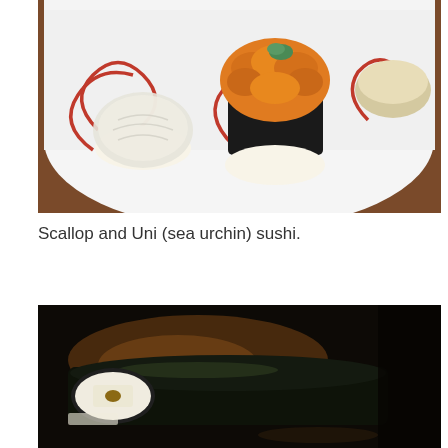[Figure (photo): Close-up photo of two pieces of sushi on a white decorative plate with red swirl designs. On the left is a scallop nigiri (white, translucent), and in the center is a uni (sea urchin) nigiri with bright orange roe on black nori, topped with a small piece of green wasabi. Another piece is partially visible on the right.]
Scallop and Uni (sea urchin) sushi.
[Figure (photo): Close-up photo of what appears to be a dark sushi roll on a dark surface, partially cut, showing the interior with rice and nori wrapping. The lighting is dim with some warm reflections visible.]